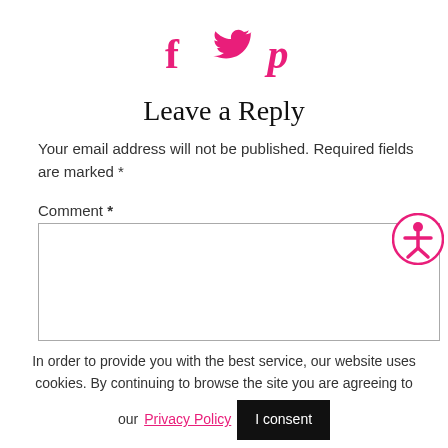[Figure (illustration): Three social media icons: Facebook (f), Twitter (bird), Pinterest (p) in hot pink color]
Leave a Reply
Your email address will not be published. Required fields are marked *
Comment *
[Figure (illustration): Accessibility icon button - circle with person figure in pink]
In order to provide you with the best service, our website uses cookies. By continuing to browse the site you are agreeing to our Privacy Policy  I consent